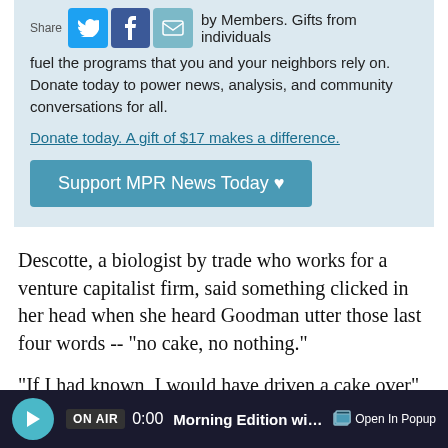[Figure (screenshot): Share bar with Twitter, Facebook, and email icons, followed by donation appeal text box with teal background]
by Members. Gifts from individuals fuel the programs that you and your neighbors rely on. Donate today to power news, analysis, and community conversations for all.
Donate today. A gift of $17 makes a difference.
Support MPR News Today ♥
Descotte, a biologist by trade who works for a venture capitalist firm, said something clicked in her head when she heard Goodman utter those last four words -- "no cake, no nothing."
"If I had known, I would have driven a cake over"
ON AIR 0:00 Morning Edition with Cathy W   Open In Popup